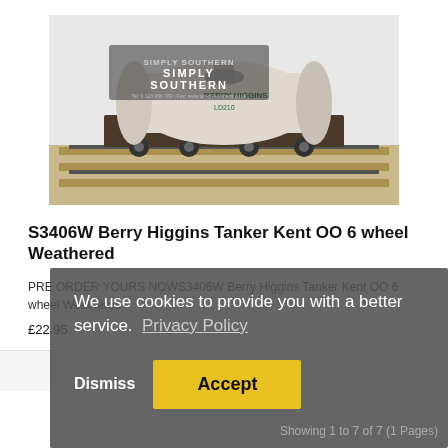[Figure (photo): Product photo of S3406W Berry Higgins Tanker Kent OO 6 wheel Weathered model train wagon on tracks, with Simply Southern branding overlay]
S3406W Berry Higgins Tanker Kent OO 6 wheel Weathered
PRE ORDER YOURS NOWS3406W  Berry Higgins  Tanker Kent OO  6 wheel Weathered
£22.95
We use cookies to provide you with a better service.  Privacy Policy
Dismiss
Accept
Showing 1 to 7 of 7 (1 Pages)